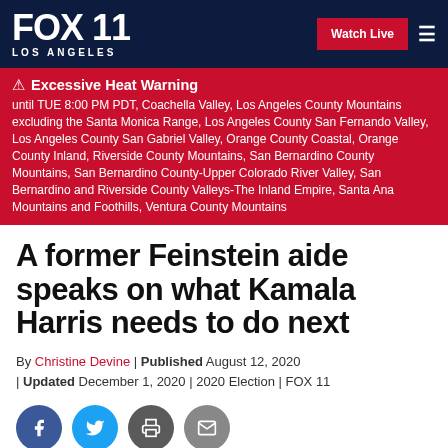FOX 11 LOS ANGELES | Watch Live
Excessive Heat Warning until TUE 8:00 PM PDT, Coachella Valley, Los Angeles County Mountains excluding the Santa Monica Range, Los Angeles County San Fernando Valley, Los Angeles County San Gabriel Valley, Orange County Coastal, Orange County Inland, Riverside County Mountains, San Bernardino County Mountains, San Bernardino County-Upper Colorado River Valley, San Bernardino and Riverside County Valleys-The Inland Empire, Santa Ana Mountains and Foothills, Ventura County Mountains
A former Feinstein aide speaks on what Kamala Harris needs to do next
By Christine Devine | Published August 12, 2020 | Updated December 1, 2020 | 2020 Election | FOX 11